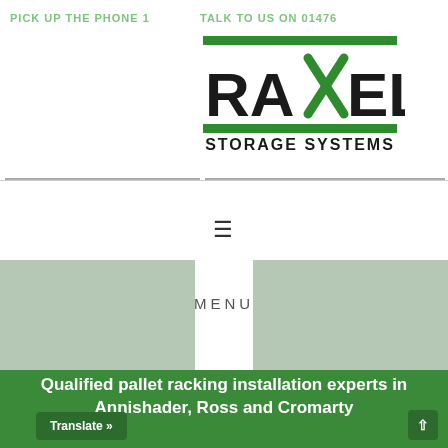PICK UP THE PHONE 1
TALK TO US ON 01476
[Figure (logo): Raxel Storage Systems logo with green horizontal bars and bold black text]
≡
MENU
Qualified pallet racking installation experts in Annishader, Ross and Cromarty
Translate »